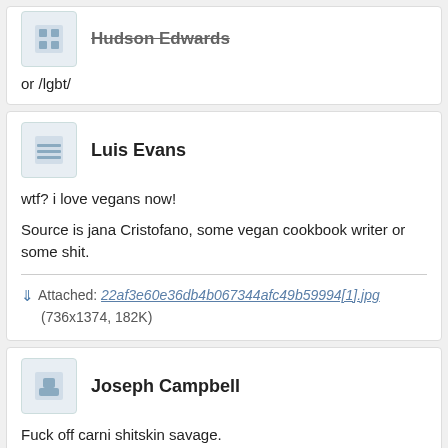or /lgbt/
Luis Evans
wtf? i love vegans now!
Source is jana Cristofano, some vegan cookbook writer or some shit.
Attached: 22af3e60e36db4b067344afc49b59994[1].jpg (736x1374, 182K)
Joseph Campbell
Fuck off carni shitskin savage.
Sebastian Russell
all of the ecosystem is guilty now according to you now's when you say muh muh meat industry is the rea…